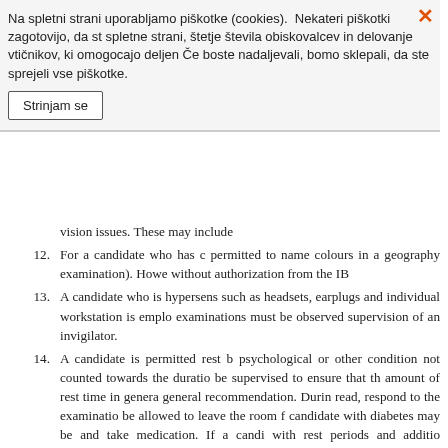Na spletni strani uporabljamo piškotke (cookies). Nekateri piškotki zagotovijo, da st spletne strani, štetje števila obiskovalcev in delovanje vtičnikov, ki omogocajo deljen Če boste nadaljevali, bomo sklepali, da ste sprejeli vse piškotke.
Strinjam se
vision issues. These may include
12. For a candidate who has c permitted to name colours in a geography examination). Howe without authorization from the IB
13. A candidate who is hypersens such as headsets, earplugs and individual workstation is emplo examinations must be observed supervision of an invigilator.
14. A candidate is permitted rest b psychological or other condition not counted towards the duratio be supervised to ensure that th amount of rest time in genera general recommendation. Durin read, respond to the examinatio be allowed to leave the room f candidate with diabetes may be and take medication. If a candi with rest periods and additio examinations would take place i